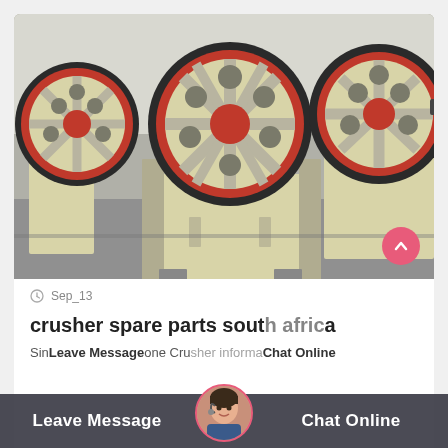[Figure (photo): Photo of multiple jaw crusher machines in a warehouse/factory setting. The crushers are cream/beige colored with large red-rimmed black flywheels. Multiple units visible side by side on a concrete floor.]
Sep_13
crusher spare parts south africa
Sinc... one Cru... er informa...